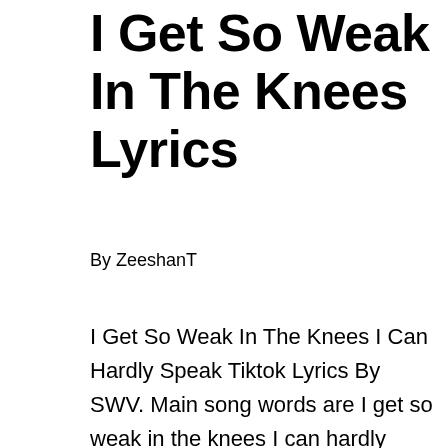I Get So Weak In The Knees Lyrics
By ZeeshanT
I Get So Weak In The Knees I Can Hardly Speak Tiktok Lyrics By SWV. Main song words are I get so weak in the knees I can hardly speak I lose all control and something takes over me In a daze, your love’s so amazing.